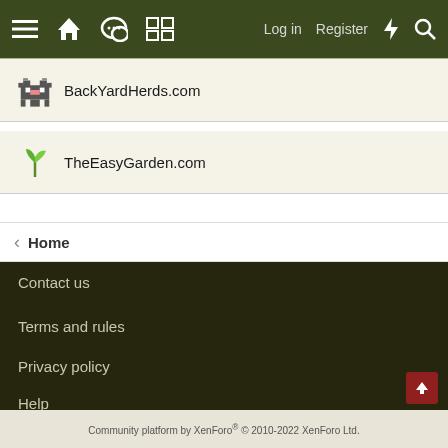≡ 🏠 💬 📋  Log in  Register ⚡ 🔍
BackYardHerds.com
TheEasyGarden.com
< Home
Contact us
Terms and rules
Privacy policy
Help
Home
Community platform by XenForo® © 2010-2022 XenForo Ltd.